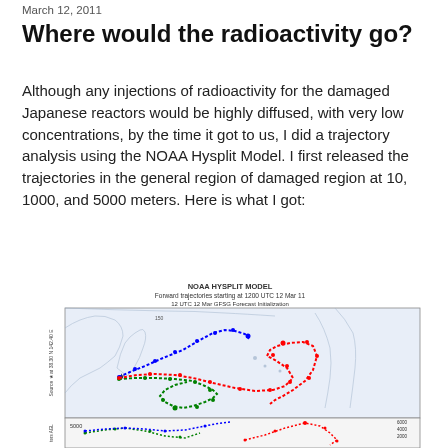March 12, 2011
Where would the radioactivity go?
Although any injections of radioactivity for the damaged Japanese reactors would be highly diffused, with very low concentrations, by the time it got to us, I did a trajectory analysis using the NOAA Hysplit Model. I first released the trajectories in the general region of damaged region at 10, 1000, and 5000 meters. Here is what I got:
[Figure (map): NOAA HYSPLIT MODEL forward trajectories map starting at 1200 UTC 12 Mar 11, showing three colored trajectory paths (blue, green, red) originating from Japan and crossing the Pacific. Below the map is a partial altitude profile chart showing trajectories labeled 5000 with colored dotted lines.]